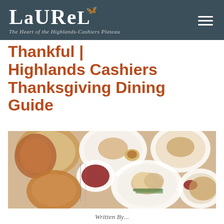LAUREL – The Heart of the Highlands-Cashiers Plateau
Thankful | Highlands Cashiers Thanksgiving Dining Guide
[Figure (photo): Overhead/flat-lay photograph of a Thanksgiving feast spread showing multiple white plates with turkey slices, cranberry sauce, stuffing, green beans, and other holiday dishes arranged on a linen tablecloth]
Written By...